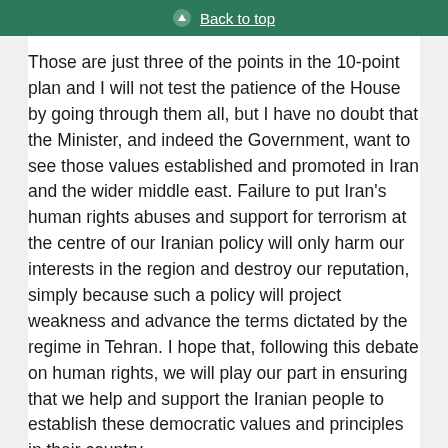Back to top
Those are just three of the points in the 10-point plan and I will not test the patience of the House by going through them all, but I have no doubt that the Minister, and indeed the Government, want to see those values established and promoted in Iran and the wider middle east. Failure to put Iran’s human rights abuses and support for terrorism at the centre of our Iranian policy will only harm our interests in the region and destroy our reputation, simply because such a policy will project weakness and advance the terms dictated by the regime in Tehran. I hope that, following this debate on human rights, we will play our part in ensuring that we help and support the Iranian people to establish these democratic values and principles in their country